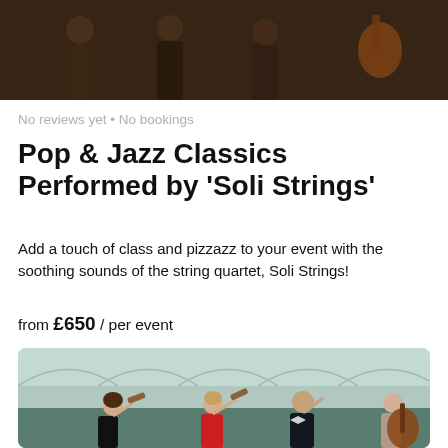[Figure (photo): Musicians in formal attire playing string instruments, likely violins and a double bass, in a dark setting.]
No reviews yet • No bookings
Pop & Jazz Classics Performed by 'Soli Strings'
Add a touch of class and pizzazz to your event with the soothing sounds of the string quartet, Soli Strings!
from £650 / per event
[Figure (photo): A string quartet of four musicians — three women and one man — playing violins and cello inside an ornate glass-roofed hall. Two women in a black and red dress respectively, one bald man in a tuxedo, and another woman on cello.]